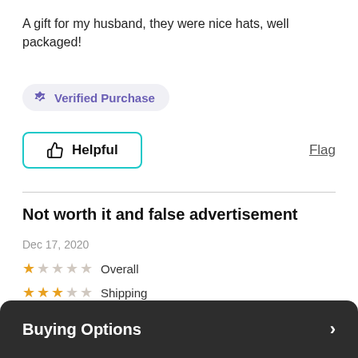A gift for my husband, they were nice hats, well packaged!
Verified Purchase
Helpful
Flag
Not worth it and false advertisement
Dec 17, 2020
★☆☆☆☆ Overall
★★★☆☆ Shipping
★☆☆☆☆ Quality
★☆☆☆☆ Curation
Buying Options